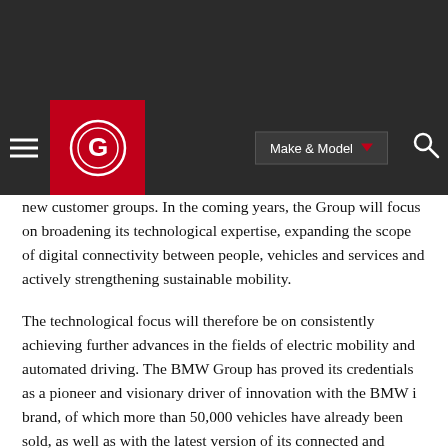Navigation bar with logo, Make & Model dropdown, and search icon
new customer groups. In the coming years, the Group will focus on broadening its technological expertise, expanding the scope of digital connectivity between people, vehicles and services and actively strengthening sustainable mobility.
The technological focus will therefore be on consistently achieving further advances in the fields of electric mobility and automated driving. The BMW Group has proved its credentials as a pioneer and visionary driver of innovation with the BMW i brand, of which more than 50,000 vehicles have already been sold, as well as with the latest version of its connected and intelligent flagship BMW 7 Series.
BMW iNEXT as symbol of technology leadership
The BMW Group's strategy will become driving reality, ushering in the next decade in the form of a revolutionary new BMW i model that will raise premium individual mobility to previously unknown levels. Under the banner of BMW iNEXT, the BMW Group brings new forms of